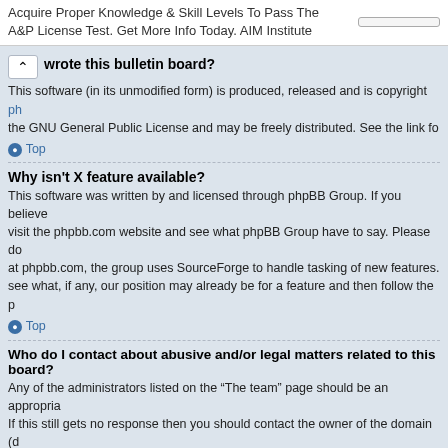Acquire Proper Knowledge & Skill Levels To Pass The A&P License Test. Get More Info Today. AIM Institute
wrote this bulletin board?
This software (in its unmodified form) is produced, released and is copyright ph... the GNU General Public License and may be freely distributed. See the link fo...
Top
Why isn't X feature available?
This software was written by and licensed through phpBB Group. If you believe... visit the phpbb.com website and see what phpBB Group have to say. Please do... at phpbb.com, the group uses SourceForge to handle tasking of new features.... see what, if any, our position may already be for a feature and then follow the p...
Top
Who do I contact about abusive and/or legal matters related to this board?
Any of the administrators listed on the “The team” page should be an appropria... If this still gets no response then you should contact the owner of the domain (d... on a free service (e.g. Yahoo!, free.fr, f2s.com, etc.), the management or abuse... note that the phpBB Group has absolutely no jurisdiction and cannot in any w... by whom this board is used. Do not contact the phpBB Group in relation to any... defamatory comment, etc.) matter not directly related to the phpbb.com webs... itself. If you do e-mail phpBB Group about any third party use of this software... response or no response at all.
Top